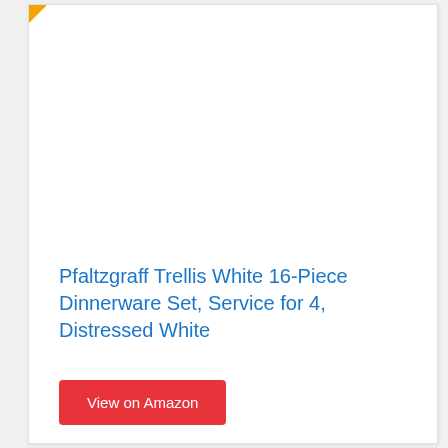[Figure (photo): Product image area (white/blank) for Pfaltzgraff Trellis White 16-Piece Dinnerware Set]
Pfaltzgraff Trellis White 16-Piece Dinnerware Set, Service for 4, Distressed White
View on Amazon